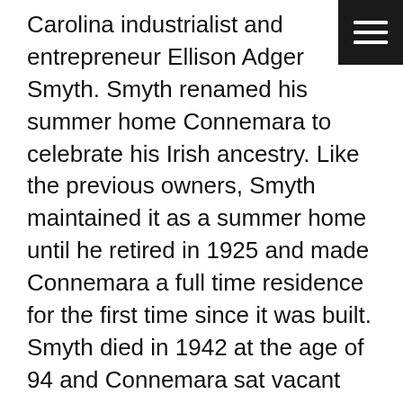Carolina industrialist and entrepreneur Ellison Adger Smyth. Smyth renamed his summer home Connemara to celebrate his Irish ancestry. Like the previous owners, Smyth maintained it as a summer home until he retired in 1925 and made Connemara a full time residence for the first time since it was built. Smyth died in 1942 at the age of 94 and Connemara sat vacant until 1945.
Carl Sandburg purchased the home in 1945.  His wife Lillian had found the home far away from their home in Michigan because she wanted a warmer